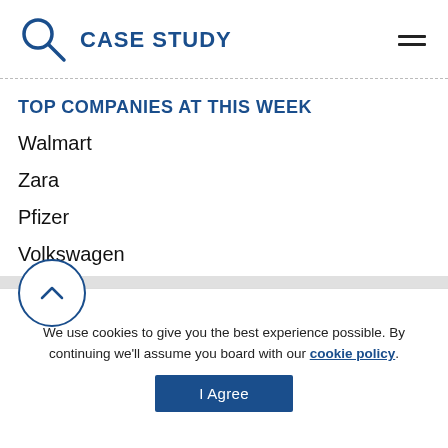CASE STUDY
TOP COMPANIES AT THIS WEEK
Walmart
Zara
Pfizer
Volkswagen
We use cookies to give you the best experience possible. By continuing we'll assume you board with our cookie policy.
I Agree